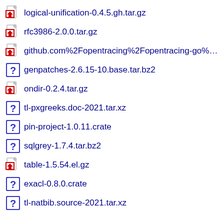logical-unification-0.4.5.gh.tar.gz
rfc3986-2.0.0.tar.gz
github.com%2Fopentracing%2Fopentracing-go%2F@v%2Fv1.2
genpatches-2.6.15-10.base.tar.bz2
ondir-0.2.4.tar.gz
tl-pxgreeks.doc-2021.tar.xz
pin-project-1.0.11.crate
sqlgrey-1.7.4.tar.bz2
table-1.5.54.el.gz
exacl-0.8.0.crate
tl-natbib.source-2021.tar.xz